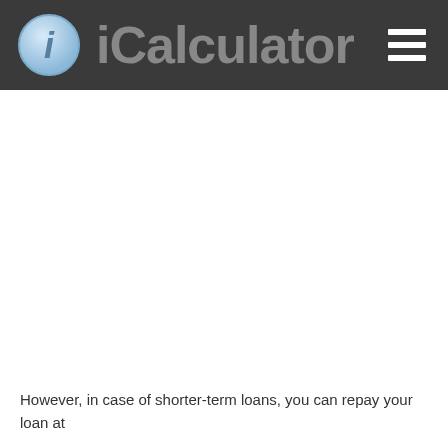iCalculator
However, in case of shorter-term loans, you can repay your loan at